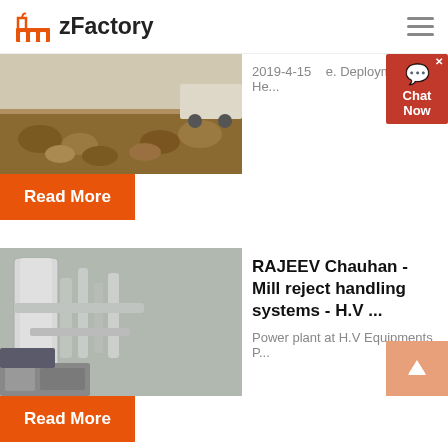zFactory
[Figure (photo): Pile of rocks/debris outdoors, construction material]
2019-4-15   e. Deployment of He...
Read More
[Figure (photo): Industrial power plant piping and equipment]
RAJEEV Chauhan - Mill reject handling systems - H.V ...
Power plant at H.V Equipments P...
Read More